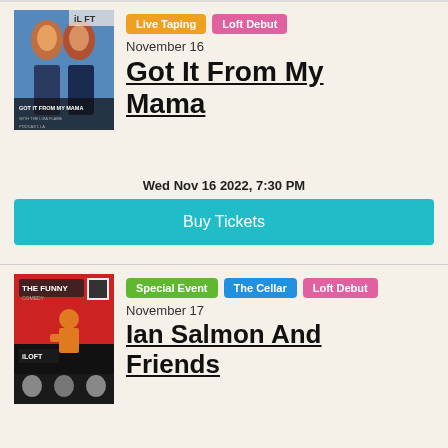[Figure (photo): Promotional image for 'Got It From My Mama' show at The Loft, showing two women with curly red hair]
Live Taping   Loft Debut
November 16
Got It From My Mama
Wed Nov 16 2022, 7:30 PM
Buy Tickets
[Figure (photo): Promotional image for 'The Funny' event at The Loft featuring Ian Salmon And Friends]
Special Event   The Cellar   Loft Debut
November 17
Ian Salmon And Friends